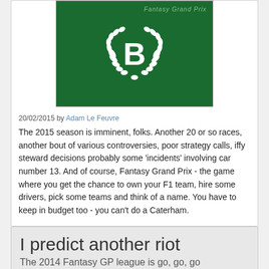[Figure (logo): Green square logo with large white letter B in center surrounded by white laurel wreath, 'Fantasy Grand Prix' text in upper right corner]
20/02/2015 by Adam Le Feuvre
The 2015 season is imminent, folks. Another 20 or so races, another bout of various controversies, poor strategy calls, iffy steward decisions probably some 'incidents' involving car number 13. And of course, Fantasy Grand Prix - the game where you get the chance to own your F1 team, hire some drivers, pick some teams and think of a name. You have to keep in budget too - you can't do a Caterham.
I predict another riot
The 2014 Fantasy GP league is go, go, go
[Figure (logo): Green circular logo with white laurel wreath, bottom portion visible, cropped]